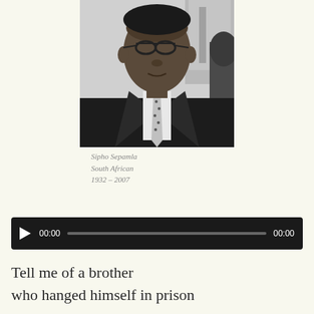[Figure (photo): Black and white photograph of Sipho Sepamla, a South African man wearing glasses, a suit, and a patterned tie with a dark overcoat, photographed from roughly chest-up.]
Sipho Sepamla
South African
1932 – 2007
[Figure (screenshot): Audio player bar with play button, timestamp 00:00 on left, grey progress track, and timestamp 00:00 on right, on a dark/black background.]
Tell me of a brother
who hanged himself in prison